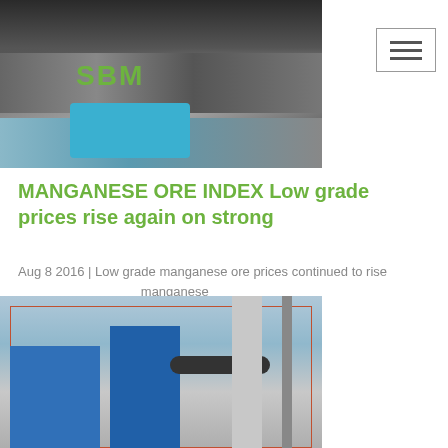[Figure (photo): Industrial facility with steel framework structures, conveyor belts, and a blue three-wheeled truck in the foreground. SBM logo visible in top left.]
MANGANESE ORE INDEX Low grade prices rise again on strong
Aug 8 2016 | Low grade manganese ore prices continued to rise … manganese
[Figure (photo): Industrial dust collection or ore processing facility with blue baghouse filter units, large pipes, chimney stack, and crane structure against a blue sky.]